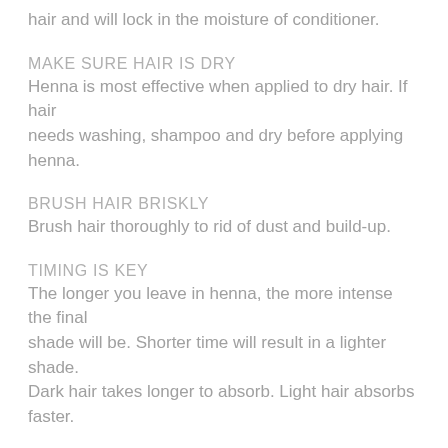hair and will lock in the moisture of conditioner.
MAKE SURE HAIR IS DRY
Henna is most effective when applied to dry hair. If hair needs washing, shampoo and dry before applying henna.
BRUSH HAIR BRISKLY
Brush hair thoroughly to rid of dust and build-up.
TIMING IS KEY
The longer you leave in henna, the more intense the final shade will be. Shorter time will result in a lighter shade.
Dark hair takes longer to absorb. Light hair absorbs faster.